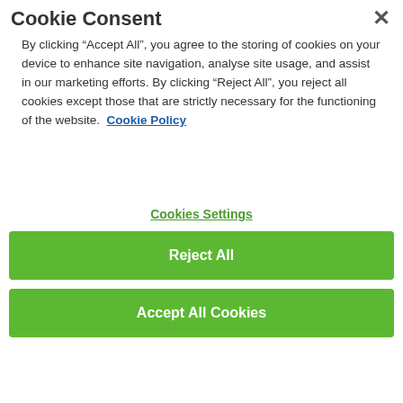Cookie Consent
By clicking “Accept All”, you agree to the storing of cookies on your device to enhance site navigation, analyse site usage, and assist in our marketing efforts. By clicking “Reject All”, you reject all cookies except those that are strictly necessary for the functioning of the website.  Cookie Policy
Cookies Settings
Reject All
Accept All Cookies
[Figure (photo): Black and white image of a person's hands or legs, partially visible]
Why do people who are being abused or mistreated by their partners stay in the relationship?